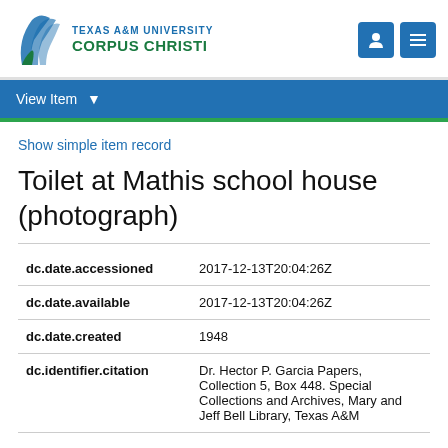[Figure (logo): Texas A&M University Corpus Christi logo with bird/wing icon and university name in blue and green]
View Item
Show simple item record
Toilet at Mathis school house (photograph)
| Field | Value |
| --- | --- |
| dc.date.accessioned | 2017-12-13T20:04:26Z |
| dc.date.available | 2017-12-13T20:04:26Z |
| dc.date.created | 1948 |
| dc.identifier.citation | Dr. Hector P. Garcia Papers, Collection 5, Box 448. Special Collections and Archives, Mary and Jeff Bell Library, Texas A&M |